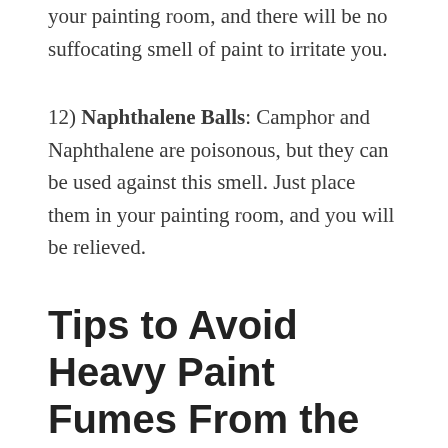your painting room, and there will be no suffocating smell of paint to irritate you.
12) Naphthalene Balls: Camphor and Naphthalene are poisonous, but they can be used against this smell. Just place them in your painting room, and you will be relieved.
Tips to Avoid Heavy Paint Fumes From the Start